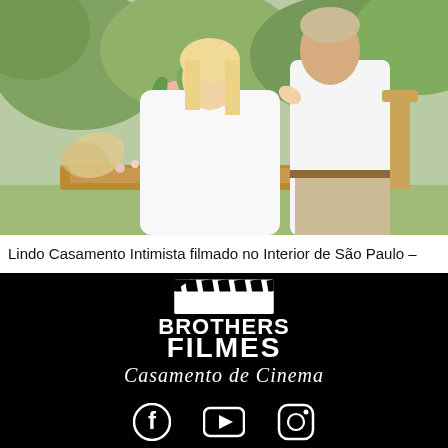[Figure (photo): A couple in a romantic outdoor wedding setting, woman in white dress, man in white shirt, with a floral arrangement in a white vase on a table, lush greenery background.]
Lindo Casamento Intimista filmado no Interior de São Paulo –
[Figure (logo): Brothers Filmes logo: film clapperboard icon above the words BROTHERS FILMES in bold white text, with 'Casamento de Cinema' in script below, on black background.]
[Figure (infographic): Social media icons: Facebook, YouTube, Instagram displayed in white on black background.]